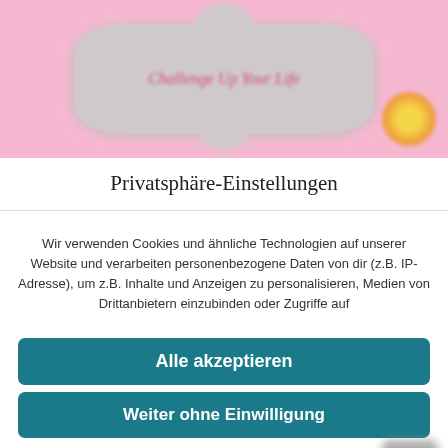[Figure (logo): Blurred pink background with a decorative grey shape containing italic pink text 'Challenge Up Your Life' and a flower icon in the bottom right.]
Privatsphäre-Einstellungen
Wir verwenden Cookies und ähnliche Technologien auf unserer Website und verarbeiten personenbezogene Daten von dir (z.B. IP-Adresse), um z.B. Inhalte und Anzeigen zu personalisieren, Medien von Drittanbietern einzubinden oder Zugriffe auf
Alle akzeptieren
Weiter ohne Einwilligung
Privatsphäre-Einstellungen individuell festlegen
Datenschutzerklärung • Impressum • Consent Management Plattform
Real Cookie Banner